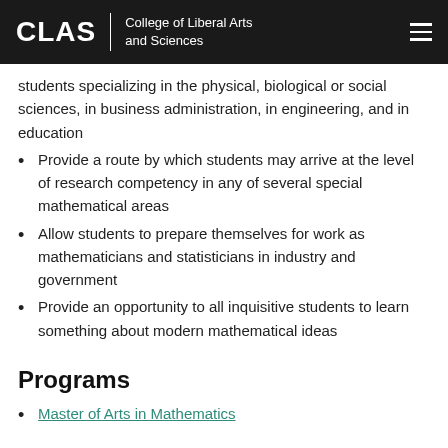CLAS | College of Liberal Arts and Sciences
students specializing in the physical, biological or social sciences, in business administration, in engineering, and in education
Provide a route by which students may arrive at the level of research competency in any of several special mathematical areas
Allow students to prepare themselves for work as mathematicians and statisticians in industry and government
Provide an opportunity to all inquisitive students to learn something about modern mathematical ideas
Programs
Master of Arts in Mathematics